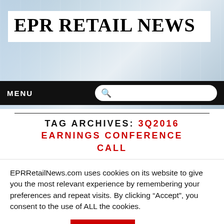[Figure (photo): Blurred background photo of a retail/commercial interior space with blues and grays]
EPR RETAIL NEWS
MENU
TAG ARCHIVES: 3Q2016 EARNINGS CONFERENCE CALL
EPRRetailNews.com uses cookies on its website to give you the most relevant experience by remembering your preferences and repeat visits. By clicking “Accept”, you consent to the use of ALL the cookies.
Cookie settings
ACCEPT